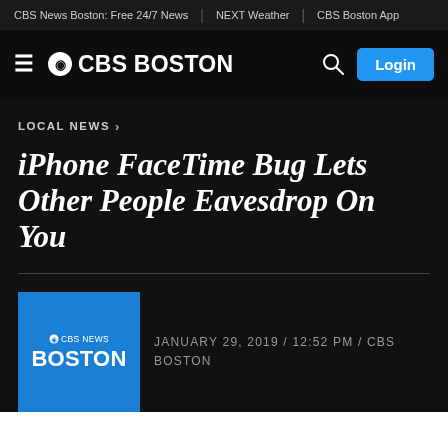CBS News Boston: Free 24/7 News | NEXT Weather | CBS Boston App
[Figure (logo): CBS Boston navigation bar with hamburger menu, CBS Boston logo, search icon, and Login button]
LOCAL NEWS ›
iPhone FaceTime Bug Lets Other People Eavesdrop On You
JANUARY 29, 2019 / 12:52 PM / CBS BOSTON